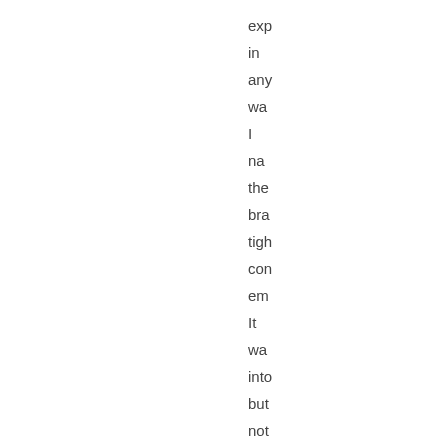exp
in
any
wa
I
na
the
bra
tigh
con
em
It
wa
into
but
not
En